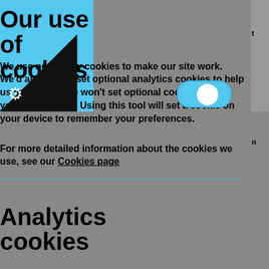Our use of cookies
We use necessary cookies to make our site work. We'd also like to set optional analytics cookies to help us improve it. We won't set optional cookies unless you enable them. Using this tool will set a cookie on your device to remember your preferences.
For more detailed information about the cookies we use, see our Cookies page
Analytics cookies